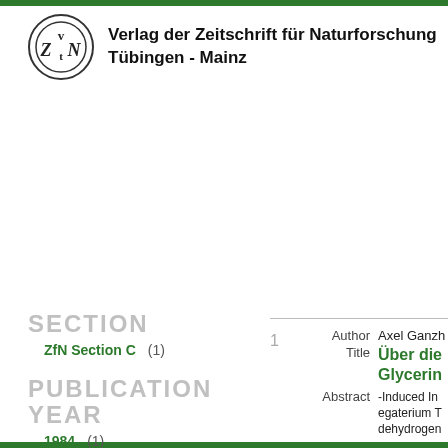[Figure (logo): Circular logo with stylized VZN letters for Verlag der Zeitschrift für Naturforschung]
Verlag der Zeitschrift für Naturforschung Tübingen - Mainz
SECTION
ZfN Section C (1)
PUBLICATION YEAR
1984 (1)
1  Author Axel Ganzh... Title Über die... Glycerin... Abstract -Induced In... egaterium T... dehydrogen... measured b... followed by... addition o f...